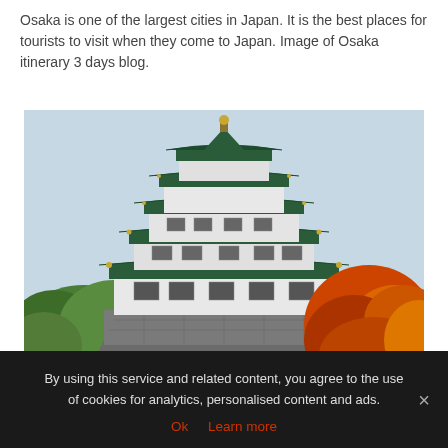Osaka is one of the largest cities in Japan. It is the best places for tourists to visit when they come to Japan. Image of Osaka itinerary 3 days blog.
[Figure (photo): Photograph of Osaka Castle, a multi-tiered Japanese castle with green roofs and white walls, surrounded by autumn foliage (orange and red trees on the right, green trees on the left), with a stone foundation and light blue sky background.]
By using this service and related content, you agree to the use of cookies for analytics, personalised content and ads.
Ok  Learn more